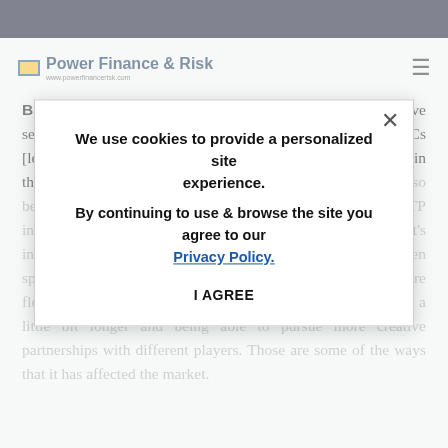Power Finance & Risk
Brown: I would say one of the ways that, tactically, we've seen these funds come to play is that they post development LCs [letters of credit]. This used to be something that was mainly in the arsenal of the more strategic players. Banks are also becoming a little bit more comfortable taking LC risk pre-NTP in certain circumstances. That has been meaningful and it's increasing accessibility earlier on in a project's lifecycle. Even sponsors who used to be develop-and-flip players have more flexibility than they used to, in terms of holding onto assets a little bit longer and being able to pursue more creative partnerships with different players. Those are some of the ways that it has affected the market.
We use cookies to provide a personalized site experience.
By continuing to use & browse the site you agree to our Privacy Policy.
I AGREE